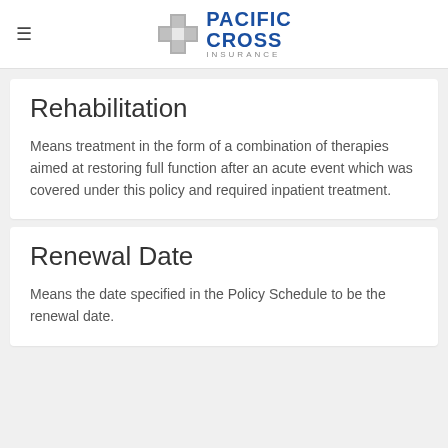Pacific Cross Insurance
Rehabilitation
Means treatment in the form of a combination of therapies aimed at restoring full function after an acute event which was covered under this policy and required inpatient treatment.
Renewal Date
Means the date specified in the Policy Schedule to be the renewal date.